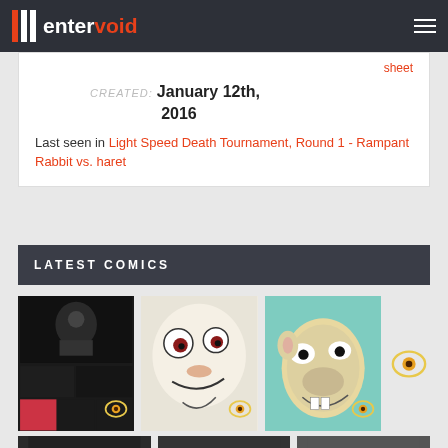entervoid
sheet
CREATED: January 12th, 2016
Last seen in Light Speed Death Tournament, Round 1 - Rampant Rabbit vs. haret
LATEST COMICS
[Figure (photo): Comic thumbnail - dark black and white comic panels]
[Figure (photo): Comic thumbnail - illustrated character face close-up]
[Figure (photo): Comic thumbnail - illustrated animal/creature face]
[Figure (logo): Entervoid eye logo watermark]
[Figure (photo): Partial comic thumbnails bottom row]